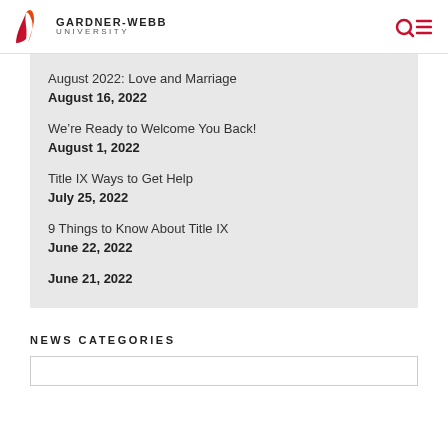GARDNER-WEBB UNIVERSITY
August 2022: Love and Marriage
August 16, 2022
We’re Ready to Welcome You Back!
August 1, 2022
Title IX Ways to Get Help
July 25, 2022
9 Things to Know About Title IX
June 22, 2022
June 21, 2022
NEWS CATEGORIES